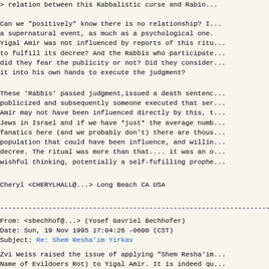> relation between this Kabbalistic curse and Rabin... Can we "positively" know there is no relationship? I... a supernatural event, as much as a psychological one. Yigal Amir was not influenced by reports of this ritu... to fulfill its decree? And the Rabbis who participate... did they fear the publicity or not? Did they consider... it into his own hands to execute the judgment?
These 'Rabbis' passed judgment,issued a death sentenc... publicized and subsequently someone executed that ser... Amir may not have been influenced directly by this, t... Jews in Israel and if we have *just* the average numb... fanatics here (and we probably don't) there are thous... population that could have been influence, and willin... decree. The ritual was more than that.... it was an o... wishful thinking, potentially a self-fufilling prophe...
Cheryl <CHERYLHALL@...> Long Beach CA USA
------------------------------------------------------------------------...
From: <sbechhof@...> (Yosef Gavriel Bechhofer)
Date: Sun, 19 Nov 1995 17:04:26 -0600 (CST)
Subject: Re: Shem Resha'im Yirkav
Zvi Weiss raised the issue of applying "Shem Resha'im... Name of Evildoers Rot) to Yigal Amir. It is indeed qu... this term can be applied to a live person, as he may...